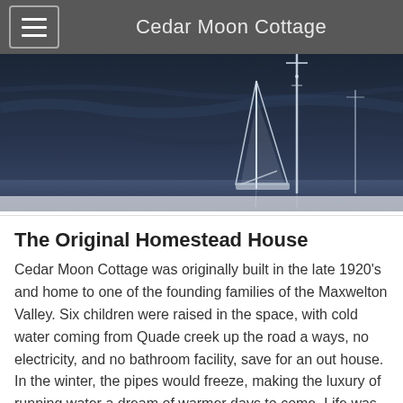Cedar Moon Cottage
[Figure (photo): Nighttime or dusk photo of boats or structures with masts silhouetted against a dark blue-grey sky, monochromatic]
The Original Homestead House
Cedar Moon Cottage was originally built in the late 1920's and home to one of the founding families of the Maxwelton Valley. Six children were raised in the space, with cold water coming from Quade creek up the road a ways, no electricity, and no bathroom facility, save for an out house. In the winter, the pipes would freeze, making the luxury of running water a dream of warmer days to come. Life was hard in those days on Whidbey, most lived through subsistence farming or fishing, as a farm hand